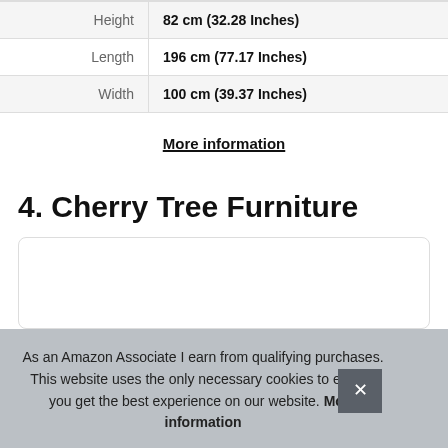| Height | 82 cm (32.28 Inches) |
| Length | 196 cm (77.17 Inches) |
| Width | 100 cm (39.37 Inches) |
More information
4. Cherry Tree Furniture
As an Amazon Associate I earn from qualifying purchases. This website uses the only necessary cookies to ensure you get the best experience on our website. More information